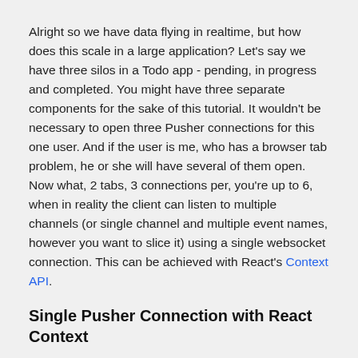Alright so we have data flying in realtime, but how does this scale in a large application? Let's say we have three silos in a Todo app - pending, in progress and completed. You might have three separate components for the sake of this tutorial. It wouldn't be necessary to open three Pusher connections for this one user. And if the user is me, who has a browser tab problem, he or she will have several of them open. Now what, 2 tabs, 3 connections per, you're up to 6, when in reality the client can listen to multiple channels (or single channel and multiple event names, however you want to slice it) using a single websocket connection. This can be achieved with React's Context API.
Single Pusher Connection with React Context
If you're not familiar with Context, you should read Kent C. Dodds' post: Application State Management with React to